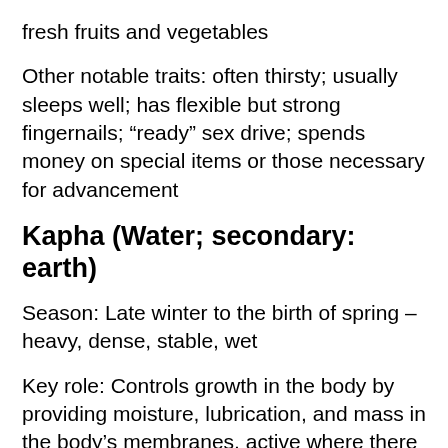fresh fruits and vegetables
Other notable traits: often thirsty; usually sleeps well; has flexible but strong fingernails; “ready” sex drive; spends money on special items or those necessary for advancement
Kapha (Water; secondary: earth)
Season: Late winter to the birth of spring – heavy, dense, stable, wet
Key role: Controls growth in the body by providing moisture, lubrication, and mass in the body’s membranes, active where there are whitish secretions (consequence = slow or sticky bowel movements)
Associated parts of the body: lungs, mouth, and orifices